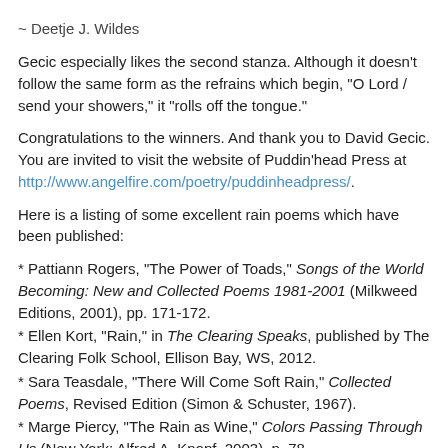~ Deetje J. Wildes
Gecic especially likes the second stanza. Although it doesn't follow the same form as the refrains which begin, "O Lord / send your showers," it "rolls off the tongue."
Congratulations to the winners. And thank you to David Gecic. You are invited to visit the website of Puddin'head Press at http://www.angelfire.com/poetry/puddinheadpress/.
Here is a listing of some excellent rain poems which have been published:
* Pattiann Rogers, "The Power of Toads," Songs of the World Becoming: New and Collected Poems 1981-2001 (Milkweed Editions, 2001), pp. 171-172.
* Ellen Kort, "Rain," in The Clearing Speaks, published by The Clearing Folk School, Ellison Bay, WS, 2012.
* Sara Teasdale, "There Will Come Soft Rain," Collected Poems, Revised Edition (Simon & Schuster, 1967).
* Marge Piercy, "The Rain as Wine," Colors Passing Through Us (New York: Alfred A. Knopf, 2003), p. 78.
* D... "A S... O..." in D... A Life in D...